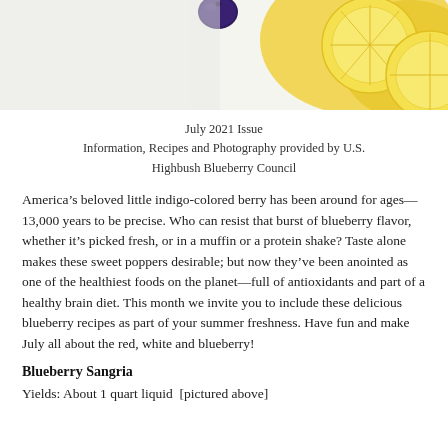[Figure (photo): Overhead photo showing blueberries and lemon slices on a light background]
July 2021 Issue
Information, Recipes and Photography provided by U.S. Highbush Blueberry Council
America’s beloved little indigo-colored berry has been around for ages—13,000 years to be precise. Who can resist that burst of blueberry flavor, whether it’s picked fresh, or in a muffin or a protein shake? Taste alone makes these sweet poppers desirable; but now they’ve been anointed as one of the healthiest foods on the planet—full of antioxidants and part of a healthy brain diet. This month we invite you to include these delicious blueberry recipes as part of your summer freshness. Have fun and make July all about the red, white and blueberry!
Blueberry Sangria
Yields: About 1 quart liquid  [pictured above]